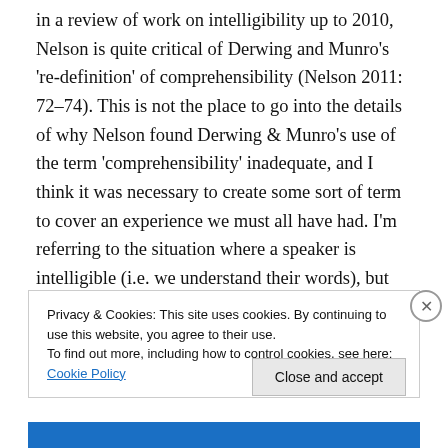in a review of work on intelligibility up to 2010, Nelson is quite critical of Derwing and Munro's 're-definition' of comprehensibility (Nelson 2011: 72–74). This is not the place to go into the details of why Nelson found Derwing & Munro's use of the term 'comprehensibility' inadequate, and I think it was necessary to create some sort of term to cover an experience we must all have had. I'm referring to the situation where a speaker is intelligible (i.e. we understand their words), but listening to them and understanding what they  are saying requires a serious effort on our behalf. This is what Derwing and Munro
Privacy & Cookies: This site uses cookies. By continuing to use this website, you agree to their use.
To find out more, including how to control cookies, see here: Cookie Policy